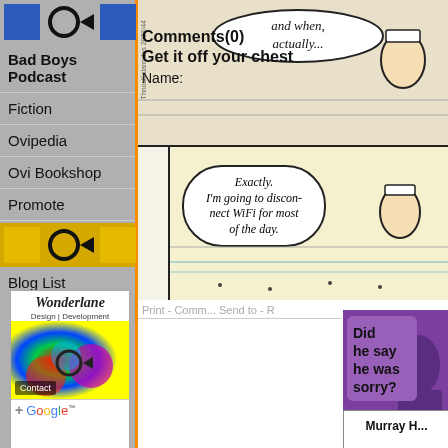[Figure (screenshot): Website sidebar navigation with Ovi/blog links including Bad Boys Podcast, Fiction, Ovipedia, Ovi Bookshop, Promote, Blog List]
Bad Boys Podcast
Fiction
Ovipedia
Ovi Bookshop
Promote
Blog List
[Figure (illustration): Comic strip panels showing cartoon characters near water/pool. Top panel has speech bubble saying 'and when, actually...' Bottom panel shows speech bubble: 'Exactly. I'm going to disconnect WiFi for most of the day.' Watermark: ThnosKalamidas 2022/44]
Print - Comment - Send to - R
Comments(0)
Get it off your chest
Name:
[Figure (illustration): Purple advertisement with dark silhouette figure and speech bubble text: 'Did he say he was sorry?']
[Figure (illustration): Wonderlane Design and Development advertisement with colorful abstract graphic and Google+ badge]
Murray H...